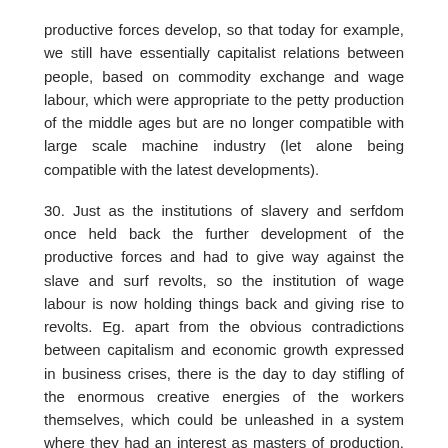productive forces develop, so that today for example, we still have essentially capitalist relations between people, based on commodity exchange and wage labour, which were appropriate to the petty production of the middle ages but are no longer compatible with large scale machine industry (let alone being compatible with the latest developments).
30. Just as the institutions of slavery and serfdom once held back the further development of the productive forces and had to give way against the slave and surf revolts, so the institution of wage labour is now holding things back and giving rise to revolts. Eg. apart from the obvious contradictions between capitalism and economic growth expressed in business crises, there is the day to day stifling of the enormous creative energies of the workers themselves, which could be unleashed in a system where they had an interest as masters of production, instead of a direct interest in sabotaging it and "conserving" their jobs. Then scientific and technical innovation would not only be unhindered by mass unemployment and crises, but would be the conscious activity of the majority instead of the province of